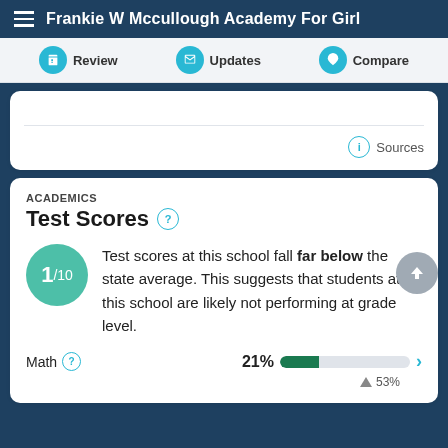Frankie W Mccullough Academy For Girl
Review  Updates  Compare
Sources
ACADEMICS
Test Scores
Test scores at this school fall far below the state average. This suggests that students at this school are likely not performing at grade level.
Math  21%  53%